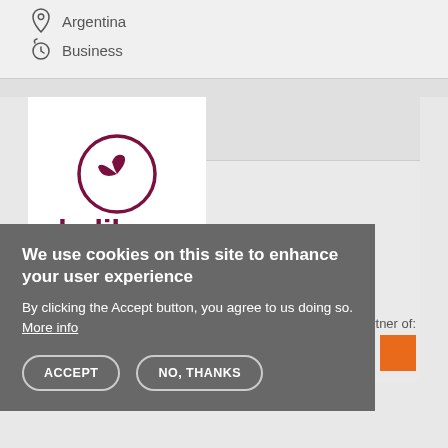Argentina
Business
[Figure (logo): Kolibri logo — circular bird icon in dark magenta/burgundy above the word 'kolibri' in bold dark red/maroon with orange 'i' dot]
We use cookies on this site to enhance your user experience
By clicking the Accept button, you agree to us doing so. More info
ACCEPT
NO, THANKS
Partner of: